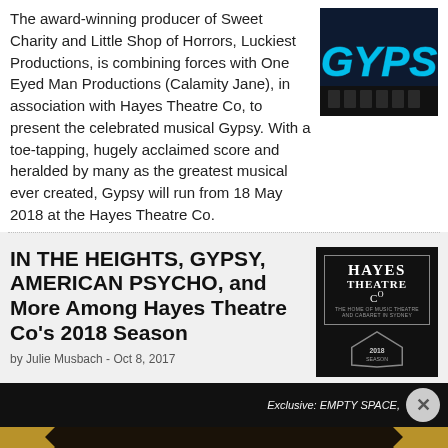The award-winning producer of Sweet Charity and Little Shop of Horrors, Luckiest Productions, is combining forces with One Eyed Man Productions (Calamity Jane), in association with Hayes Theatre Co, to present the celebrated musical Gypsy. With a toe-tapping, hugely acclaimed score and heralded by many as the greatest musical ever created, Gypsy will run from 18 May 2018 at the Hayes Theatre Co.
[Figure (photo): Neon sign spelling GYPSY in blue neon lights on dark background]
IN THE HEIGHTS, GYPSY, AMERICAN PSYCHO, and More Among Hayes Theatre Co's 2018 Season
by Julie Musbach - Oct 8, 2017
[Figure (logo): Hayes Theatre Co logo - black square with border, showing HAYES THEATRE Co in white text with diamond shape and 2018 SEASON text]
Exclusive: EMPTY SPACE,
[Figure (infographic): Advertisement for The Book of Mormon musical - GET 2-FOR-1 TICKETS during NYC Broadway Week September 6-25, use code BWAYWK - GET TICKETS button. Gold and dark background with zigzag border.]